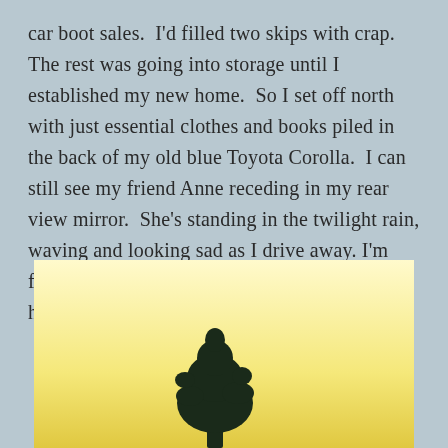car boot sales.  I'd filled two skips with crap. The rest was going into storage until I established my new home.  So I set off north with just essential clothes and books piled in the back of my old blue Toyota Corolla.  I can still see my friend Anne receding in my rear view mirror.  She's standing in the twilight rain, waving and looking sad as I drive away. I'm feeling excited and terrified about my nine hour journey and what is to come…
[Figure (photo): A photograph with a pale yellow/cream background showing the silhouette of a dark tree at the bottom center of the image.]